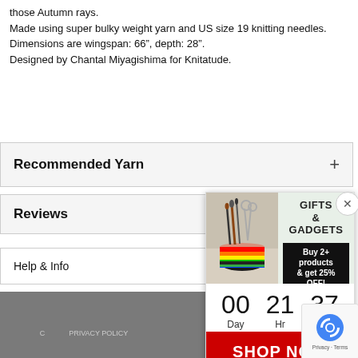those Autumn rays.
Made using super bulky weight yarn and US size 19 knitting needles.
Dimensions are wingspan: 66", depth: 28".
Designed by Chantal Miyagishima for Knitatude.
Recommended Yarn
Reviews
Help & Info
[Figure (screenshot): Popup advertisement for Gifts & Gadgets with a countdown timer showing 00 Days, 21 Hr, 37 Min and a SHOP NOW button. Left image shows craft supplies in a rainbow basket. Right image shows a cat-shaped mug.]
PRIVACY POLICY